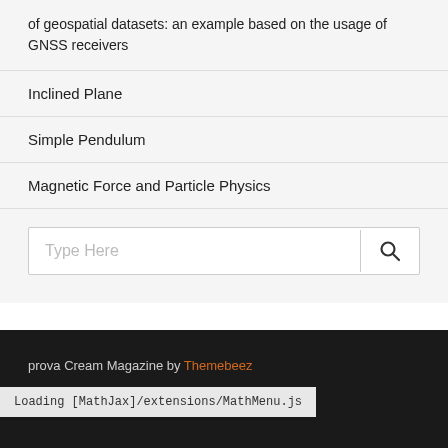of geospatial datasets: an example based on the usage of GNSS receivers
Inclined Plane
Simple Pendulum
Magnetic Force and Particle Physics
Type Here
prova Cream Magazine by Themebeez
Loading [MathJax]/extensions/MathMenu.js